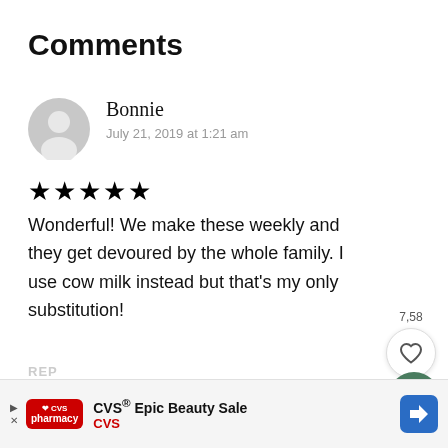Comments
Bonnie
July 21, 2019 at 1:21 am
★★★★★
Wonderful! We make these weekly and they get devoured by the whole family. I use cow milk instead but that's my only substitution!
[Figure (infographic): Like/heart button with count 7,58 and green search button]
[Figure (infographic): CVS Epic Beauty Sale advertisement banner at bottom of page]